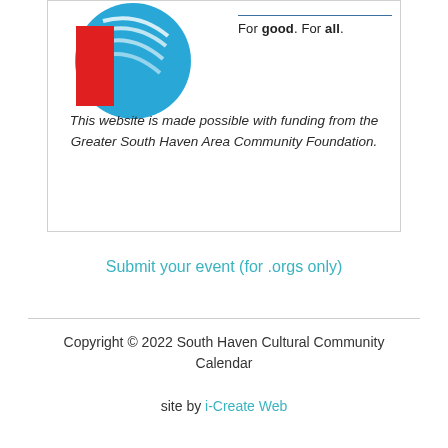[Figure (logo): Greater South Haven Area Community Foundation logo with blue circle and red rectangle, with tagline 'For good. For all.']
This website is made possible with funding from the Greater South Haven Area Community Foundation.
Submit your event (for .orgs only)
Copyright © 2022 South Haven Cultural Community Calendar
site by i-Create Web